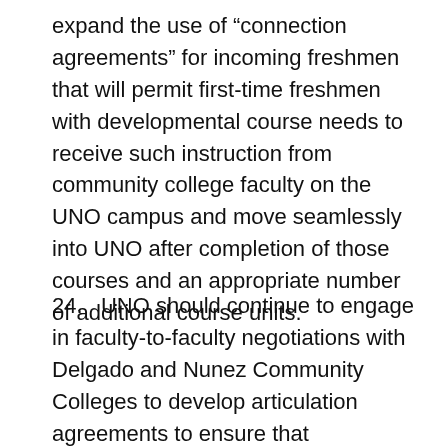expand the use of “connection agreements” for incoming freshmen that will permit first-time freshmen with developmental course needs to receive such instruction from community college faculty on the UNO campus and move seamlessly into UNO after completion of those courses and an appropriate number of additional course units.
24.   UNO should continue to engage in faculty-to-faculty negotiations with Delgado and Nunez Community Colleges to develop articulation agreements to ensure that coursework taken by recipients of Associate degrees at the community colleges will be fully transferable to